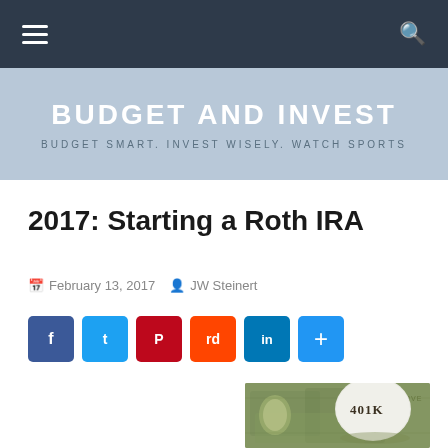Budget And Invest — Navigation bar
BUDGET AND INVEST
BUDGET SMART. INVEST WISELY. WATCH SPORTS
2017: Starting a Roth IRA
February 13, 2017   JW Steinert
[Figure (other): Social share buttons: Facebook, Twitter, Pinterest, Reddit, LinkedIn, Share]
[Figure (photo): Photo of a white egg labeled '401K' resting on US dollar bills]